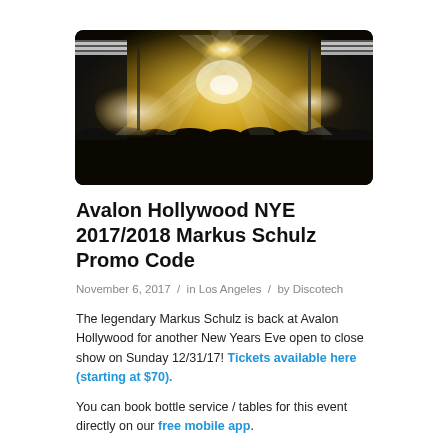[Figure (photo): Concert stage photo at Avalon Hollywood with dramatic light beams crossing in an X pattern, smoke/fog clouds on either side of the stage, crowd silhouettes in the foreground, warm golden lighting]
Avalon Hollywood NYE 2017/2018 Markus Schulz Promo Code
November 6, 2017 / in Los Angeles / by Discotech
The legendary Markus Schulz is back at Avalon Hollywood for another New Years Eve open to close show on Sunday 12/31/17! Tickets available here (starting at $70).
You can book bottle service / tables for this event directly on our free mobile app.